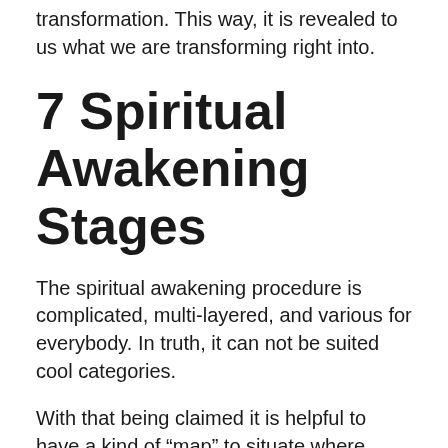transformation. This way, it is revealed to us what we are transforming right into.
7 Spiritual Awakening Stages
The spiritual awakening procedure is complicated, multi-layered, and various for everybody. In truth, it can not be suited cool categories.
With that being claimed it is helpful to have a kind of “map” to situate where you’re at right now. The adhering to phases are general. They define the overall circulation of the spiritual awakening procedure: